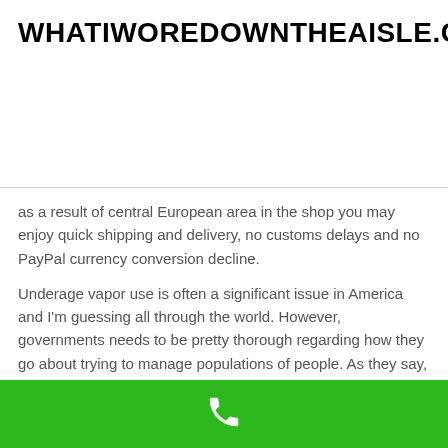WHATIWOREDOWNTHEAISLE.COM
as a result of central European area in the shop you may enjoy quick shipping and delivery, no customs delays and no PayPal currency conversion decline.
Underage vapor use is often a significant issue in America and I'm guessing all through the world. However, governments needs to be pretty thorough regarding how they go about trying to manage populations of people. As they say, 'the street to hell is paved with very good intentions'.
The evolution of vape juice continues to be explosive in the last several many years. As vapor gadgets became far more aesthetically satisfying and were ready to deliver an practical experience similar to cigarettes, e-liquid models and flavors commenced appearing across the world.
[Figure (other): Green bar at bottom with white phone icon]